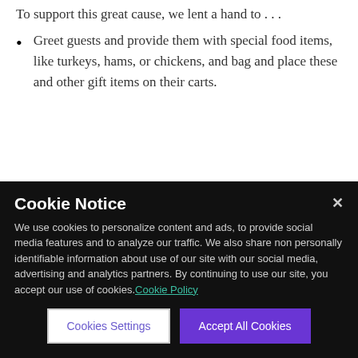To support this great cause, we lent a hand to . . .
Greet guests and provide them with special food items, like turkeys, hams, or chickens, and bag and place these and other gift items on their carts.
Cookie Notice
We use cookies to personalize content and ads, to provide social media features and to analyze our traffic. We also share non personally identifiable information about use of our site with our social media, advertising and analytics partners. By continuing to use our site, you accept our use of cookies. Cookie Policy
Cookies Settings
Accept All Cookies